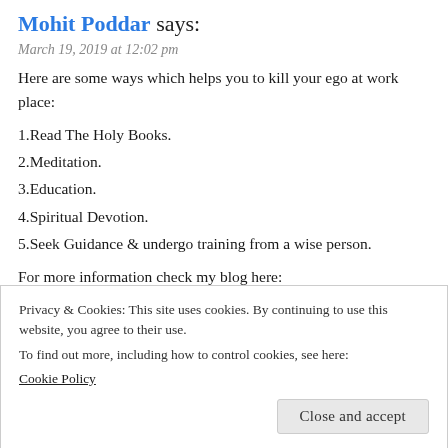Mohit Poddar says:
March 19, 2019 at 12:02 pm
Here are some ways which helps you to kill your ego at work place:
1.Read The Holy Books.
2.Meditation.
3.Education.
4.Spiritual Devotion.
5.Seek Guidance & undergo training from a wise person.
For more information check my blog here:
https://blog.unisquareconcepts.com/work-life/be-
Privacy & Cookies: This site uses cookies. By continuing to use this website, you agree to their use.
To find out more, including how to control cookies, see here:
Cookie Policy
Close and accept